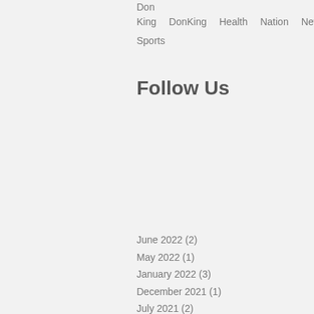Don King   DonKing   Health   Nation   News
Sports
Follow Us
June 2022 (2)
May 2022 (1)
January 2022 (3)
December 2021 (1)
July 2021 (2)
June 2021 (1)
April 2021 (7)